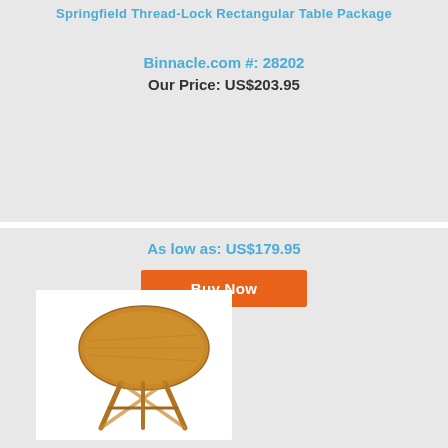Springfield Thread-Lock Rectangular Table Package
Binnacle.com #: 28202
Our Price: US$203.95
As low as: US$179.95
Buy Now
[Figure (photo): Wooden folding round table with natural teak wood finish, shown from a slight angle with folding legs visible]